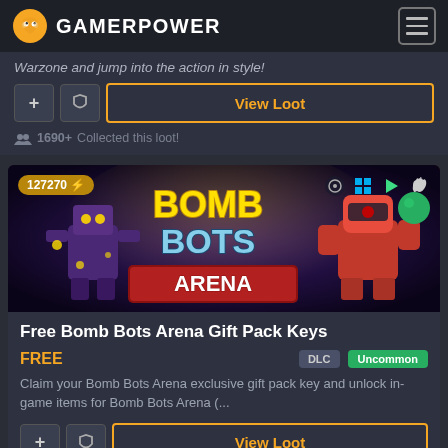GAMERPOWER
Warzone and jump into the action in style!
View Loot
1690+ Collected this loot!
[Figure (illustration): Bomb Bots Arena game banner with robot characters and game logo. Shows 127270 points badge and platform icons (Steam, Windows, Android, Apple).]
Free Bomb Bots Arena Gift Pack Keys
FREE
DLC  Uncommon
Claim your Bomb Bots Arena exclusive gift pack key and unlock in-game items for Bomb Bots Arena (...
View Loot